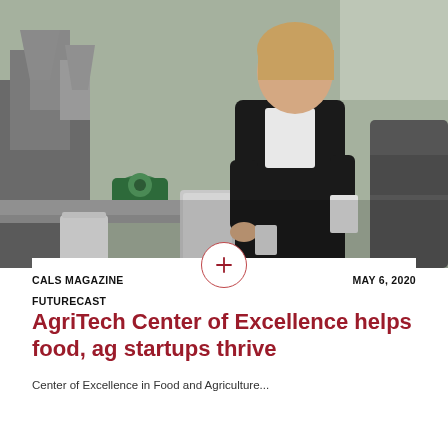[Figure (photo): Two people standing in a food/agriculture processing facility with industrial equipment including grinders and mixers. A woman in a dark blazer is gesturing and speaking while holding papers, and another person is visible on the right.]
CALS MAGAZINE  MAY 6, 2020
FUTURECAST
AgriTech Center of Excellence helps food, ag startups thrive
Center of Excellence in Food and Agriculture...